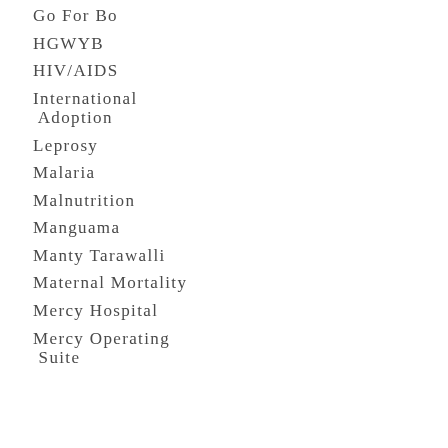Go For Bo
HGWYB
HIV/AIDS
International Adoption
Leprosy
Malaria
Malnutrition
Manguama
Manty Tarawalli
Maternal Mortality
Mercy Hospital
Mercy Operating Suite